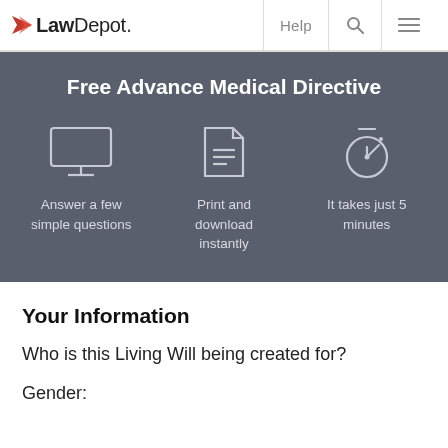LawDepot. Help
Free Advance Medical Directive
[Figure (infographic): Three icons in a dark gray banner: a desktop monitor icon with caption 'Answer a few simple questions', a document icon with caption 'Print and download instantly', and a stopwatch/timer icon with caption 'It takes just 5 minutes']
Your Information
Who is this Living Will being created for?
Gender: